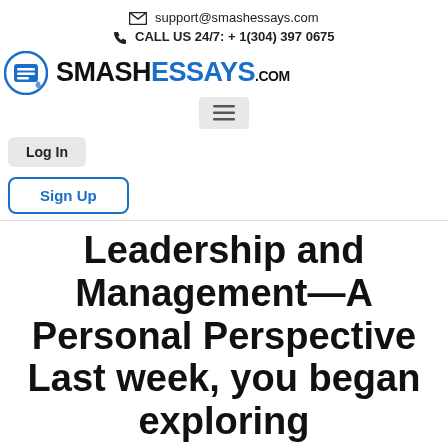✉ support@smashessays.com
📞 CALL US 24/7: + 1(304) 397 0675
[Figure (logo): SmashEssays.com logo with blue icon and bold text]
[Figure (other): Hamburger menu button with three horizontal lines]
Log In
Sign Up
Leadership and Management—A Personal Perspective Last week, you began exploring